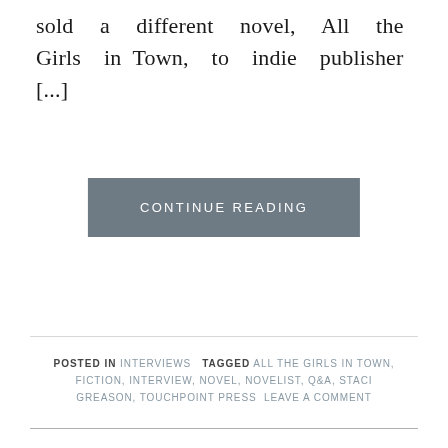sold a different novel, All the Girls in Town, to indie publisher [...]
CONTINUE READING
POSTED IN INTERVIEWS   TAGGED ALL THE GIRLS IN TOWN, FICTION, INTERVIEW, NOVEL, NOVELIST, Q&A, STACI GREASON, TOUCHPOINT PRESS   LEAVE A COMMENT